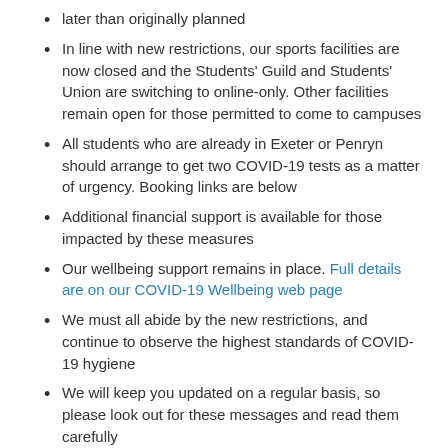later than originally planned
In line with new restrictions, our sports facilities are now closed and the Students' Guild and Students' Union are switching to online-only. Other facilities remain open for those permitted to come to campuses
All students who are already in Exeter or Penryn should arrange to get two COVID-19 tests as a matter of urgency. Booking links are below
Additional financial support is available for those impacted by these measures
Our wellbeing support remains in place. Full details are on our COVID-19 Wellbeing web page
We must all abide by the new restrictions, and continue to observe the highest standards of COVID-19 hygiene
We will keep you updated on a regular basis, so please look out for these messages and read them carefully
Full message
I'd like to wish you all a Happy New Year and to welcome you back to university life. I hope you are progressing well with your exams